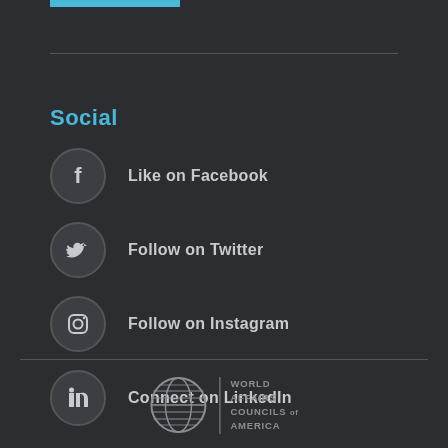Social
Like on Facebook
Follow on Twitter
Follow on Instagram
Connect on LinkedIn
[Figure (logo): World Affairs Councils of America logo with globe icon]
WORLD AFFAIRS COUNCILS of AMERICA